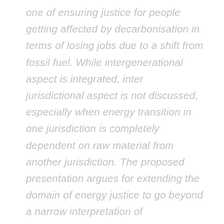one of ensuring justice for people getting affected by decarbonisation in terms of losing jobs due to a shift from fossil fuel. While intergenerational aspect is integrated, inter jurisdictional aspect is not discussed, especially when energy transition in one jurisdiction is completely dependent on raw material from another jurisdiction. The proposed presentation argues for extending the domain of energy justice to go beyond a narrow interpretation of decarbonisation, and extend to securing raw material